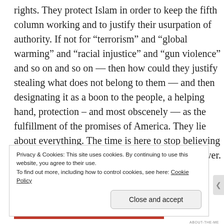rights. They protect Islam in order to keep the fifth column working and to justify their usurpation of authority. If not for “terrorism” and “global warming” and “racial injustice” and “gun violence” and so on and so on — then how could they justify stealing what does not belong to them — and then designating it as a boon to the people, a helping hand, protection – and most obscenely — as the fulfillment of the promises of America. They lie about everything. The time is here to stop believing anything they say. To reject they illegitimate power. To reinstitute the America that
Privacy & Cookies: This site uses cookies. By continuing to use this website, you agree to their use.
To find out more, including how to control cookies, see here: Cookie Policy
Close and accept